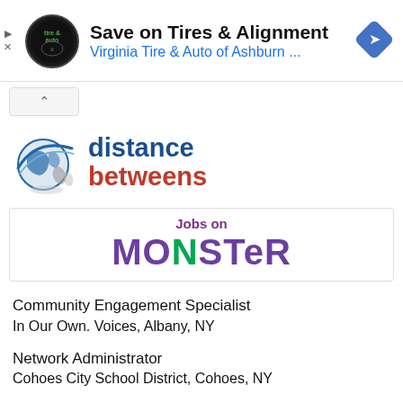[Figure (logo): Virginia Tire & Auto advertisement banner with circular logo, text 'Save on Tires & Alignment', 'Virginia Tire & Auto of Ashburn ...', and a blue diamond navigation icon]
[Figure (logo): distance betweens website logo with globe icon, 'distance' in dark blue bold text and 'betweens' in red bold text]
[Figure (logo): Jobs on MONSTER logo - purple and green styled text]
Community Engagement Specialist
In Our Own. Voices, Albany, NY
Network Administrator
Cohoes City School District, Cohoes, NY